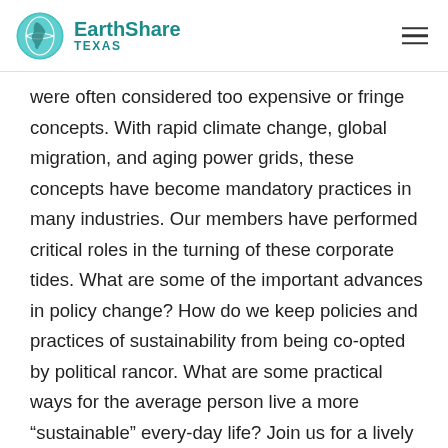EarthShare TEXAS
were often considered too expensive or fringe concepts.  With rapid climate change, global migration, and aging power grids, these concepts have become mandatory practices in many industries.  Our members have performed critical roles in the turning of these corporate tides.  What are some of the important advances in policy change?  How do we keep policies and practices of sustainability from being co-opted by political rancor.  What are some practical ways for the average person live a more “sustainable” every-day life?  Join us for a lively discussion covering all of this and more!